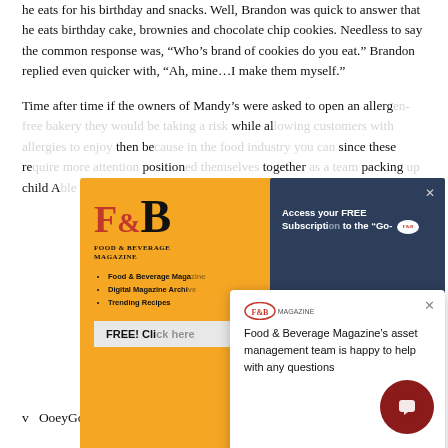he eats for his birthday and snacks. Well, Brandon was quick to answer that he eats birthday cake, brownies and chocolate chip cookies. Needless to say the common response was, “Who’s brand of cookies do you eat.” Brandon replied even quicker with, “Ah, mine…I make them myself.”
Time after time if the owners of Mandy’s were asked to open an allerg… while al… then be… since these re… position… together… packing… child A…
[Figure (screenshot): Food & Beverage Magazine popup overlay with orange background showing F&B logo, magazine name, bullet list of links (Food & Beverage Maga..., Digital Magazine Archiv..., Trending Recipes), and a FREE! Click button at bottom.]
[Figure (screenshot): Dark navy blue popup with close X button, showing 'Access your FREE Subscription to the “Go-' text and a small F&B Magazine logo.]
[Figure (screenshot): White popup box with close X button, F&B Magazine small logo, and text: 'Food & Beverage Magazine’s asset management team is happy to help with any questions']
v  OoeyGooey Brownies